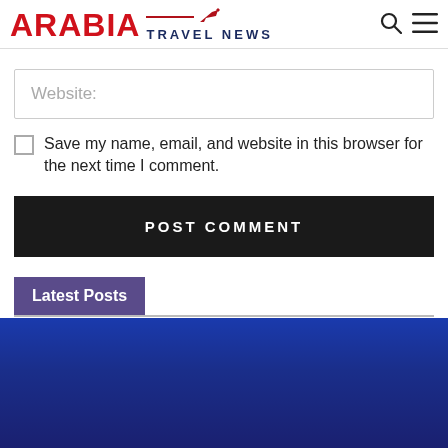ARABIA TRAVEL NEWS
Website:
Save my name, email, and website in this browser for the next time I comment.
POST COMMENT
Latest Posts
[Figure (photo): Blue gradient footer background]